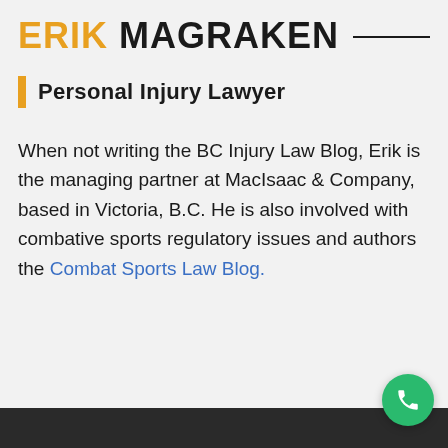ERIK MAGRAKEN
Personal Injury Lawyer
When not writing the BC Injury Law Blog, Erik is the managing partner at MacIsaac & Company, based in Victoria, B.C. He is also involved with combative sports regulatory issues and authors the Combat Sports Law Blog.